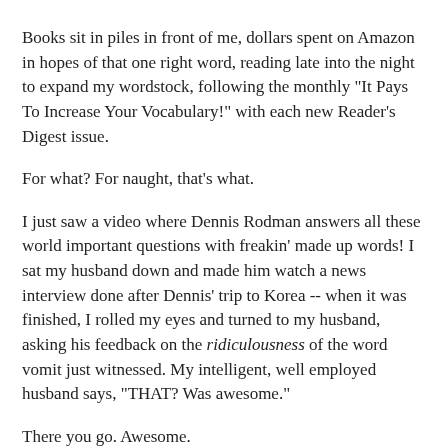Books sit in piles in front of me, dollars spent on Amazon in hopes of that one right word, reading late into the night to expand my wordstock, following the monthly "It Pays To Increase Your Vocabulary!" with each new Reader's Digest issue.
For what? For naught, that's what.
I just saw a video where Dennis Rodman answers all these world important questions with freakin' made up words! I sat my husband down and made him watch a news interview done after Dennis' trip to Korea -- when it was finished, I rolled my eyes and turned to my husband, asking his feedback on the ridiculousness of the word vomit just witnessed. My intelligent, well employed husband says, "THAT? Was awesome."
There you go. Awesome.
Read about my word snobbery conversion, at Aiming Low. My post today "I'm Going To Make Up My Own Words."